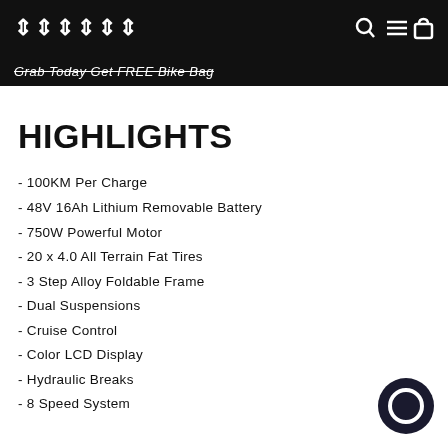ENGWE
Grab Today Get FREE Bike Bag
HIGHLIGHTS
- 100KM Per Charge
- 48V 16Ah Lithium Removable Battery
- 750W Powerful Motor
- 20 x 4.0 All Terrain Fat Tires
- 3 Step Alloy Foldable Frame
- Dual Suspensions
- Cruise Control
- Color LCD Display
- Hydraulic Breaks
- 8 Speed System